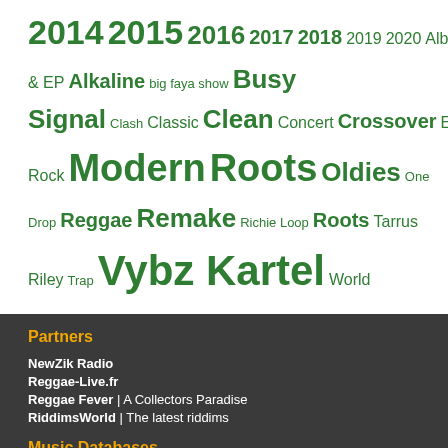2014 2015 2016 2017 2018 2019 2020 Albums & EP Alkaline big faya show Busy Signal Clash Classic Clean Concert Crossover EDM Festival Lovers Rock Modern Roots Oldies One Drop Reggae Remake Richie Loop Roots Tarrus Riley Trap Vybz Kartel World
Partners
NewZik Radio
Reggae-Live.fr
Reggae Fever | A Collectors Paradise
RiddimsWorld | The latest riddims
Music Databases
Discogs.com | The largest music database